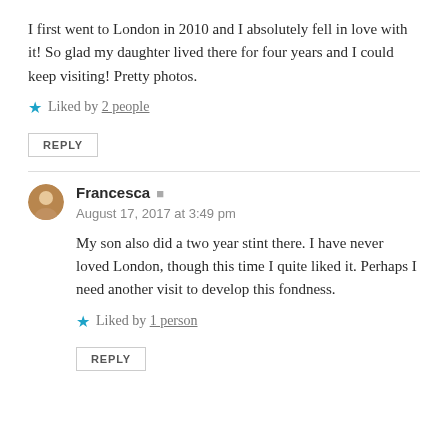I first went to London in 2010 and I absolutely fell in love with it! So glad my daughter lived there for four years and I could keep visiting! Pretty photos.
★ Liked by 2 people
REPLY
Francesca
August 17, 2017 at 3:49 pm
My son also did a two year stint there. I have never loved London, though this time I quite liked it. Perhaps I need another visit to develop this fondness.
★ Liked by 1 person
REPLY